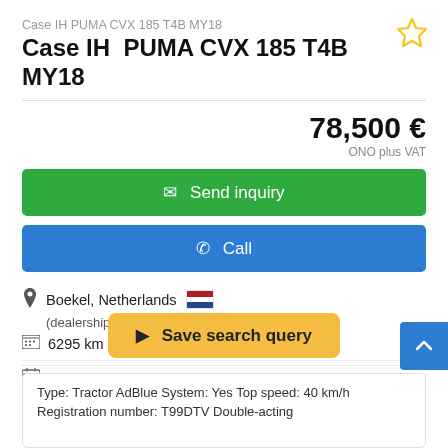Case IH PUMA CVX 185 T4B MY18
Case IH  PUMA CVX 185 T4B MY18
78,500 €
ONO plus VAT
Send inquiry
Call
Boekel, Netherlands
(dealership location)
6295 km
2018
good (used)
Save search query
Type: Tractor AdBlue System: Yes Top speed: 40 km/h Registration number: T99DTV Double-acting